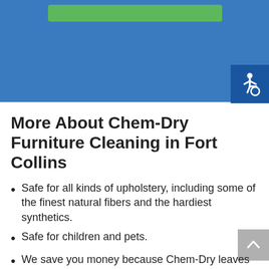[Figure (other): Blue header banner with a green button and accessibility icon]
More About Chem-Dry Furniture Cleaning in Fort Collins
Safe for all kinds of upholstery, including some of the finest natural fibers and the hardiest synthetics.
Safe for children and pets.
We save you money because Chem-Dry leaves no dirt-attracting residues which can prematurely re-soil your furniture.
Chem-Dry's fabric protector shields your upholstery by creating a water and oil